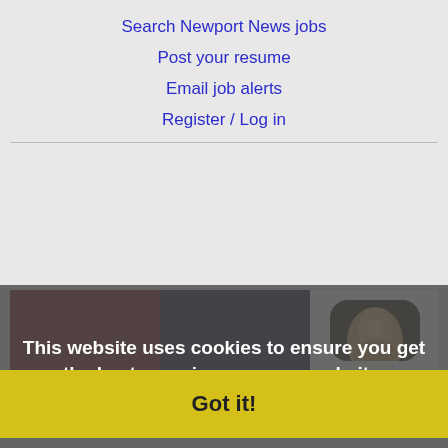Search Newport News jobs
Post your resume
Email job alerts
Register / Log in
[Figure (screenshot): App store listing screenshot showing a character-based mobile game app with grid of screenshots and app icon, overlaid with a cookie consent banner reading 'This website uses cookies to ensure you get the best experience on our website. Learn more' and a yellow 'Got it!' button. The app shows rating 4.5 free with a green download button.]
This website uses cookies to ensure you get the best experience on our website.
Learn more
Got it!